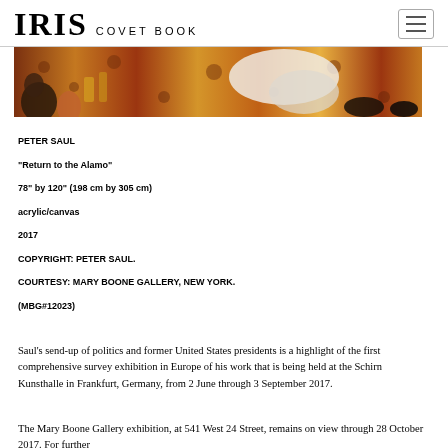IRIS COVET BOOK
[Figure (photo): Cropped detail of Peter Saul's painting 'Return to the Alamo' showing colorful cartoon-like figures on a warm brown/orange patterned background]
PETER SAUL
“Return to the Alamo”
78” by 120” (198 cm by 305 cm)
acrylic/canvas
2017
COPYRIGHT: PETER SAUL.
COURTESY: MARY BOONE GALLERY, NEW YORK.
(MBG#12023)
Saul’s send-up of politics and former United States presidents is a highlight of the first comprehensive survey exhibition in Europe of his work that is being held at the Schirn Kunsthalle in Frankfurt, Germany, from 2 June through 3 September 2017.
The Mary Boone Gallery exhibition, at 541 West 24 Street, remains on view through 28 October 2017. For further